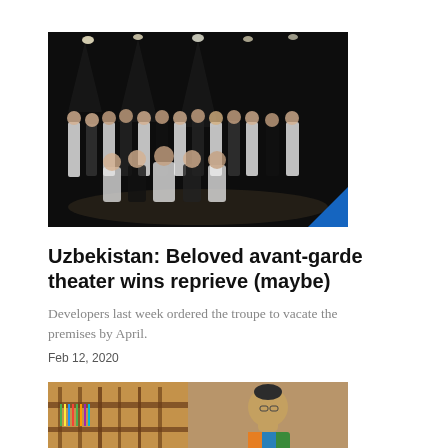[Figure (photo): Theater troupe on a dark stage with spotlights overhead, group of performers standing and sitting, blue triangle in bottom-right corner]
Uzbekistan: Beloved avant-garde theater wins reprieve (maybe)
Developers last week ordered the troupe to vacate the premises by April.
Feb 12, 2020
[Figure (photo): Man wearing a skullcap near a weaving loom, colorful fabric visible]